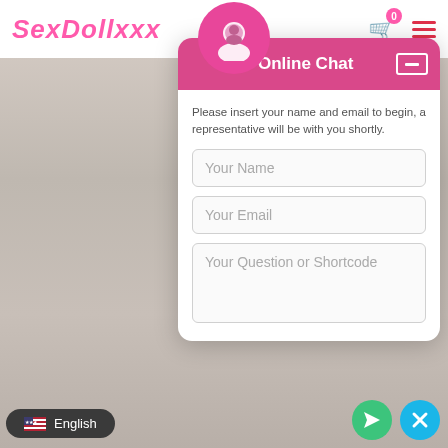[Figure (screenshot): Website header with SexDollxxx logo in pink italic font, shopping cart icon with badge showing 0, and hamburger menu in red]
[Figure (screenshot): Online Chat popup widget with pink header bar, user avatar circle, form fields for name, email, and question/shortcode]
Online Chat
Please insert your name and email to begin, a representative will be with you shortly.
Your Name
Your Email
Your Question or Shortcode
English